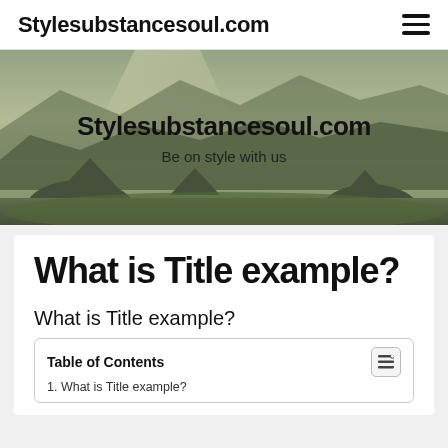Stylesubstancesoul.com
[Figure (photo): Mountain landscape hero banner with rocky peaks and moody lighting, overlaid with site title and tagline]
What is Title example?
What is Title example?
| Table of Contents |
| --- |
| 1. What is Title example? |